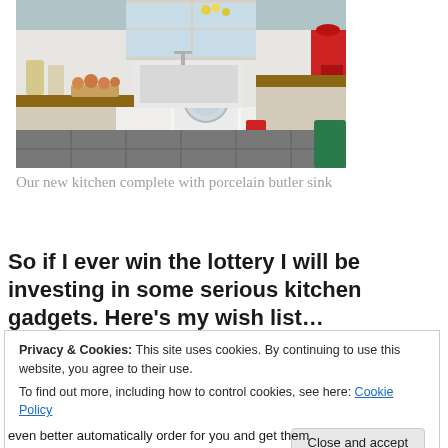[Figure (photo): A kitchen interior showing white cabinets, wooden countertops with baked goods, a porcelain butler sink under a window, a washing machine, tiled floor, and a red KitchenAid mixer on the right.]
Our new kitchen complete with porcelain butler sink
So if I ever win the lottery I will be investing in some serious kitchen gadgets. Here's my wish list…
Privacy & Cookies: This site uses cookies. By continuing to use this website, you agree to their use.
To find out more, including how to control cookies, see here: Cookie Policy
even better automatically order for you and get them